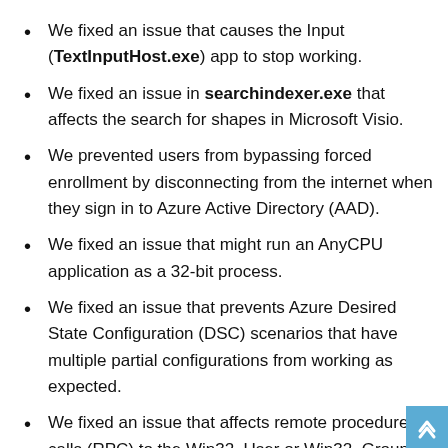We fixed an issue that causes the Input (TextInputHost.exe) app to stop working.
We fixed an issue in searchindexer.exe that affects the search for shapes in Microsoft Visio.
We prevented users from bypassing forced enrollment by disconnecting from the internet when they sign in to Azure Active Directory (AAD).
We fixed an issue that might run an AnyCPU application as a 32-bit process.
We fixed an issue that prevents Azure Desired State Configuration (DSC) scenarios that have multiple partial configurations from working as expected.
We fixed an issue that affects remote procedure calls (RPC) to the Win32_User or Win32_Group WMI class. The domain member that runs the RPC contacts the primary domain controller (PDC). When multiple RPCs occur simultaneously on many domain